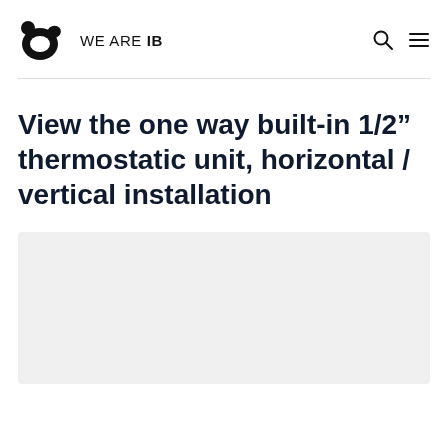WE ARE IB
View the one way built-in 1/2” thermostatic unit, horizontal / vertical installation
[Figure (other): Light grey placeholder image area at the bottom of the page]